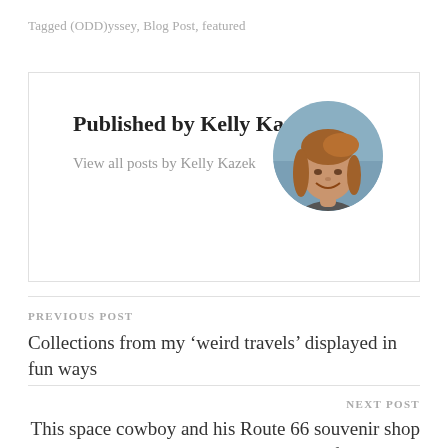Tagged (ODD)yssey, Blog Post, featured
Published by Kelly Kazek
View all posts by Kelly Kazek
[Figure (photo): Circular avatar photo of Kelly Kazek, a woman with reddish-brown hair smiling, outdoor background]
PREVIOUS POST
Collections from my ‘weird travels’ displayed in fun ways
NEXT POST
This space cowboy and his Route 66 souvenir shop are out of this world